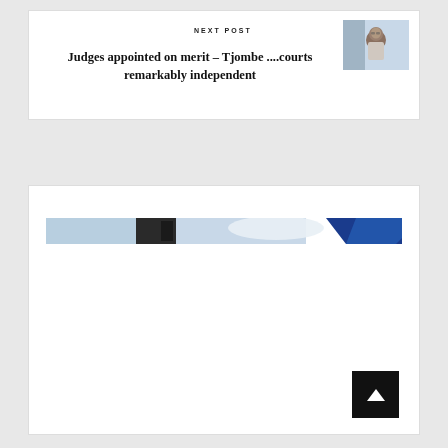NEXT POST
Judges appointed on merit – Tjombe ....courts remarkably independent
[Figure (photo): Thumbnail photo of a man in a suit gesturing with hands, blue-grey background]
[Figure (photo): Banner image with sky, dark structure, and blue and red diagonal stripe design on the right side]